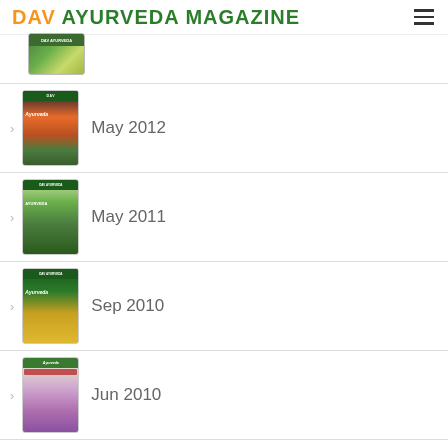DAV AYURVEDA MAGAZINE
[Figure (screenshot): Partially visible magazine cover at top of list]
May 2012
May 2011
Sep 2010
Jun 2010